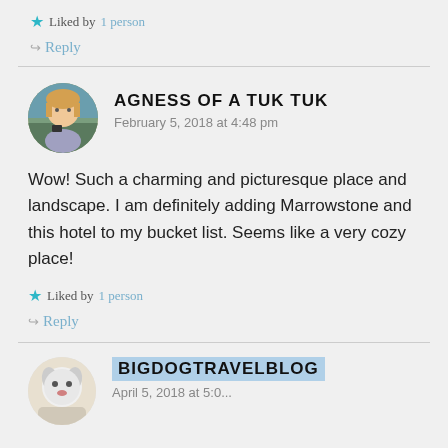Liked by 1 person
Reply
AGNESS OF A TUK TUK
February 5, 2018 at 4:48 pm
Wow! Such a charming and picturesque place and landscape. I am definitely adding Marrowstone and this hotel to my bucket list. Seems like a very cozy place!
Liked by 1 person
Reply
BIGDOGTRAVELBLOG